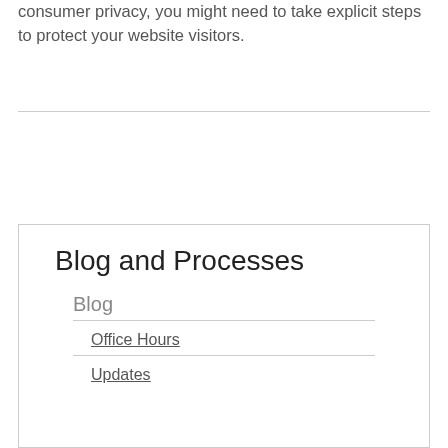consumer privacy, you might need to take explicit steps to protect your website visitors.
Blog and Processes
Blog
Office Hours
Updates